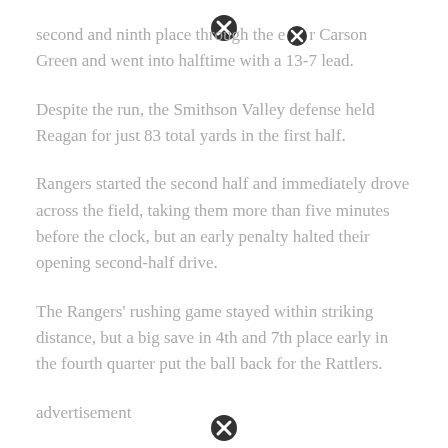second and ninth place through the e[close icon]r Carson Green and went into halftime with a 13-7 lead.
Despite the run, the Smithson Valley defense held Reagan for just 83 total yards in the first half.
Rangers started the second half and immediately drove across the field, taking them more than five minutes before the clock, but an early penalty halted their opening second-half drive.
The Rangers' rushing game stayed within striking distance, but a big save in 4th and 7th place early in the fourth quarter put the ball back for the Rattlers.
advertisement
Gavin Woods, a senior linebacker, forced a fumble that was fixed by Smithson Valley and then their offense went back to work, with runs from Debose and running back Doug Lantz putting the team in the red zone.